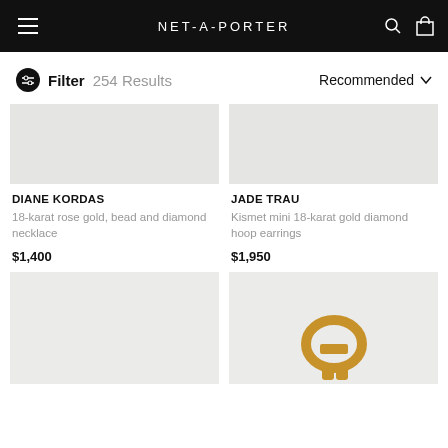NET-A-PORTER
Filter  254 Results    Recommended
[Figure (photo): Product image placeholder for Diane Kordas necklace, light gray background]
DIANE KORDAS
18-karat rose gold, bead and diamond necklace
$1,400
[Figure (photo): Product image placeholder for Jade Trau earrings, light gray background]
JADE TRAU
Kismet mini 18-karat gold diamond hoop earrings
$1,950
[Figure (photo): Product image placeholder, light gray background, bottom row left]
[Figure (photo): Product image with gold hoop earring visible, light gray background, bottom row right]